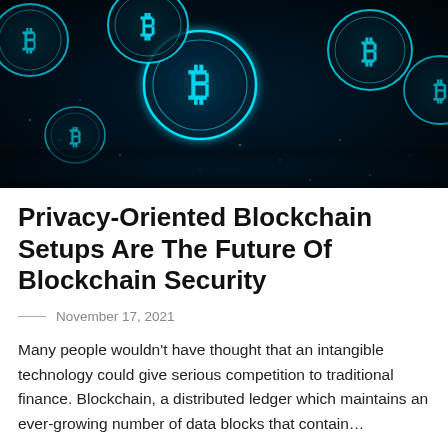[Figure (photo): Dark background with multiple glowing teal/cyan Bitcoin coin symbols floating in a dark blue-black space, giving a futuristic digital currency aesthetic.]
Privacy-Oriented Blockchain Setups Are The Future Of Blockchain Security
November 17, 2021
Many people wouldn't have thought that an intangible technology could give serious competition to traditional finance. Blockchain, a distributed ledger which maintains an ever-growing number of data blocks that contain...